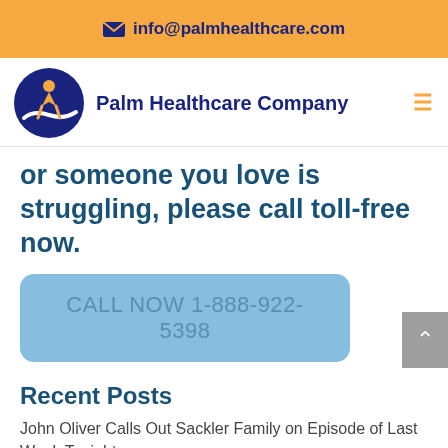info@palmhealthcare.com
[Figure (logo): Palm Healthcare Company logo — blue circle with orange human figure and white wave, company name to the right]
or someone you love is struggling, please call toll-free now.
CALL NOW 1-888-922-5398
Recent Posts
John Oliver Calls Out Sackler Family on Episode of Last Week Tonight